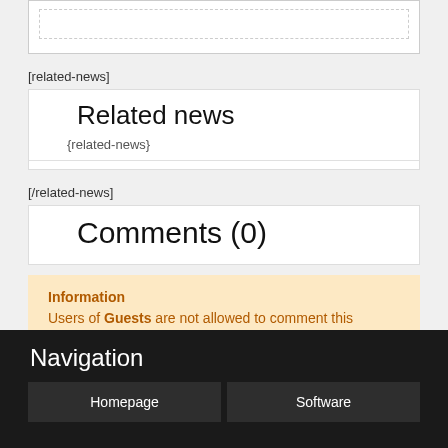[related-news]
Related news
{related-news}
[/related-news]
Comments (0)
Information
Users of Guests are not allowed to comment this publication.
Navigation
Homepage
Software